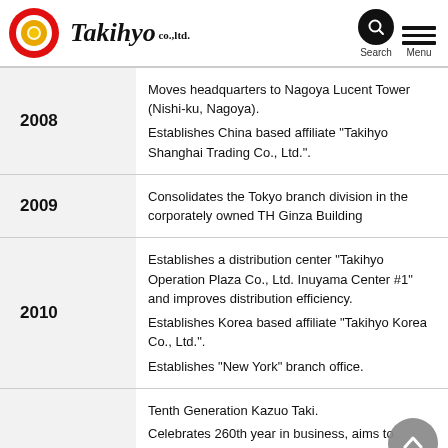Takihyo co.,ltd.
| Year | Events |
| --- | --- |
| 2008 | Moves headquarters to Nagoya Lucent Tower (Nishi-ku, Nagoya).
Establishes China based affiliate "Takihyo Shanghai Trading Co., Ltd.". |
| 2009 | Consolidates the Tokyo branch division in the corporately owned TH Ginza Building |
| 2010 | Establishes a distribution center "Takihyo Operation Plaza Co., Ltd. Inuyama Center #1" and improves distribution efficiency.
Establishes Korea based affiliate "Takihyo Korea Co., Ltd.".
Establishes "New York" branch office. |
|  | Tenth Generation Kazuo Taki.
Celebrates 260th year in business, aims to expand |